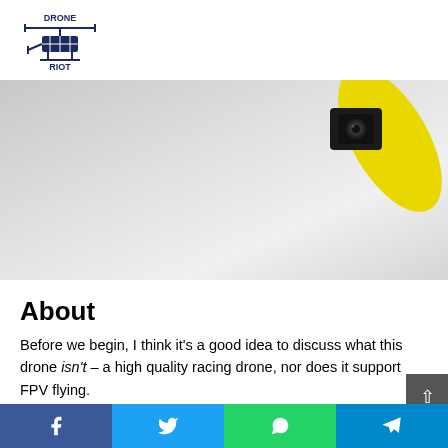DRONE RIOT
[Figure (photo): Close-up photo of a drone with a black camera module and yellow propeller blade against a light gray gradient background]
About
Before we begin, I think it's a good idea to discuss what this drone isn't – a high quality racing drone, nor does it support FPV flying.
The Holy Stone HS150 is an incredibly cheap RTF racing
Facebook | Twitter | WhatsApp | Telegram